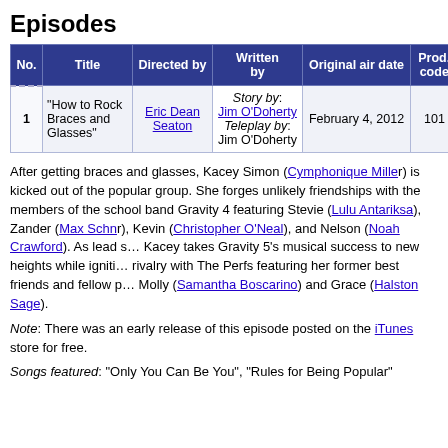Episodes
| No. | Title | Directed by | Written by | Original air date | Prod. code |
| --- | --- | --- | --- | --- | --- |
| 1 | "How to Rock Braces and Glasses" | Eric Dean Seaton | Story by: Jim O'Doherty
Teleplay by: Jim O'Doherty | February 4, 2012 | 101 |
After getting braces and glasses, Kacey Simon (Cymphonique Miller) is kicked out of the popular group. She forges unlikely friendships with the members of the school band Gravity 4 featuring Stevie (Lulu Antariksa), Zander (Max Schneider), Kevin (Christopher O'Neal), and Nelson (Noah Crawford). As lead singer Kacey takes Gravity 5's musical success to new heights while igniting an all-out rivalry with The Perfs featuring her former best friends and fellow popular girl Molly (Samantha Boscarino) and Grace (Halston Sage).
Note: There was an early release of this episode posted on the iTunes store for free.
Songs featured: "Only You Can Be You", "Rules for Being Popular"